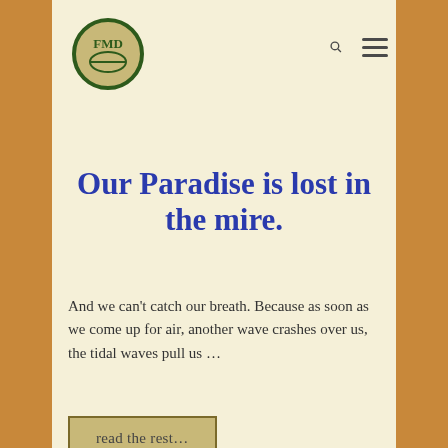[Figure (logo): FMD circular logo with dark green border on tan/khaki header background, with search and hamburger menu icons]
Our Paradise is lost in the mire.
And we can't catch our breath. Because as soon as we come up for air, another wave crashes over us, the tidal waves pull us …
read the rest…
Sweeten my tea and share:
[Figure (other): Social share buttons: Facebook, Twitter, Pinterest, LinkedIn, Reddit, Tumblr, Print, Email, Like, and a Plus/More button]